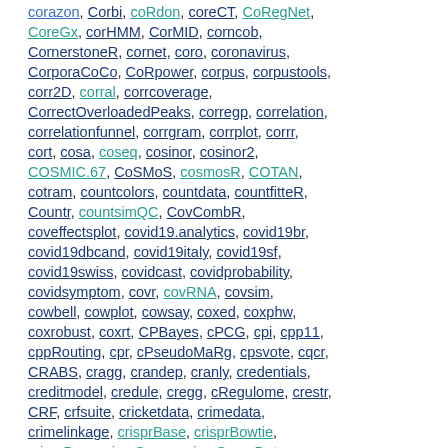corazon, Corbi, coRdon, coreCT, CoRegNet, CoreGx, corHMM, CorMID, corncob, CornerstoneR, cornet, coro, coronavirus, CorporaCoCo, CoRpower, corpus, corpustools, corr2D, corral, corrcoverage, CorrectOverloadedPeaks, corregp, correlation, correlationfunnel, corrgram, corrplot, corrr, cort, cosa, coseq, cosinor, cosinor2, COSMIC.67, CoSMoS, cosmosR, COTAN, cotram, countcolors, countdata, countfitteR, Countr, countsimQC, CovCombR, coveffectsplot, covid19.analytics, covid19br, covid19dbcand, covid19italy, covid19sf, covid19swiss, covidcast, covidprobability, covidsymptom, covr, covRNA, covsim, cowbell, cowplot, cowsay, coxed, coxphw, coxrobust, coxrt, CPBayes, cPCG, cpi, cpp11, cppRouting, cpr, cPseudoMaRg, cpsvote, cqcr, CRABS, cragg, crandep, cranly, credentials, creditmodel, credule, cregg, cRegulome, crestr, CRF, crfsuite, cricketdata, crimedata, crimelinkage, crisprBase, crisprBowtie, crisprBwa, crisprScore, crisprScoreData, crisprseekplus, CrispRVariants, criticalpath, critpath, crmPack, crochet, crone